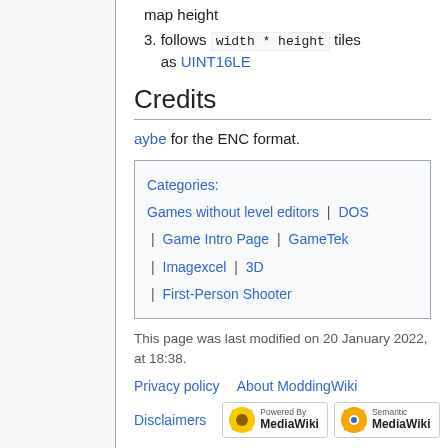map height
3. follows width * height tiles as UINT16LE
Credits
aybe for the ENC format.
| Categories: |
| --- |
| Games without level editors | | | DOS |
| | | Game Intro Page | | | GameTek |
| | | Imagexcel | | | 3D |
| | | First-Person Shooter |
This page was last modified on 20 January 2022, at 18:38.
Privacy policy   About ModdingWiki
Disclaimers   Powered By MediaWiki   Semantic MediaWiki